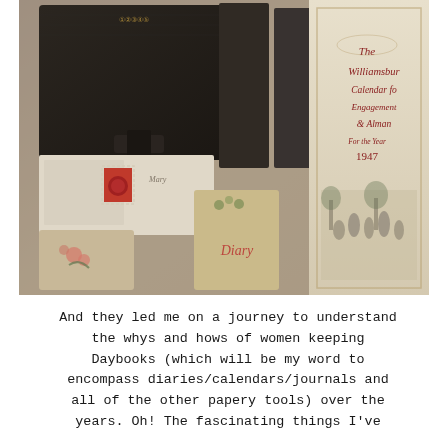[Figure (photo): A collection of vintage diaries, journals, and calendars arranged in a box or drawer. Items visible include old dark leather-bound books, a Williamsburg Calendar for Engagements & Almanac for the year 1947, an old floral small book, envelopes with red stamps, and a small book labeled 'Diary'.]
And they led me on a journey to understand the whys and hows of women keeping Daybooks (which will be my word to encompass diaries/calendars/journals and all of the other papery tools) over the years. Oh! The fascinating things I've